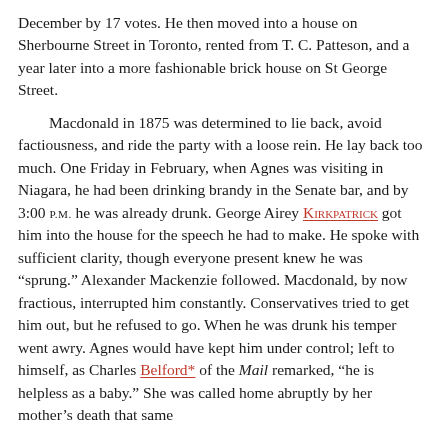December by 17 votes. He then moved into a house on Sherbourne Street in Toronto, rented from T. C. Patteson, and a year later into a more fashionable brick house on St George Street.
Macdonald in 1875 was determined to lie back, avoid factiousness, and ride the party with a loose rein. He lay back too much. One Friday in February, when Agnes was visiting in Niagara, he had been drinking brandy in the Senate bar, and by 3:00 P.M. he was already drunk. George Airey KIRKPATRICK got him into the house for the speech he had to make. He spoke with sufficient clarity, though everyone present knew he was "sprung." Alexander Mackenzie followed. Macdonald, by now fractious, interrupted him constantly. Conservatives tried to get him out, but he refused to go. When he was drunk his temper went awry. Agnes would have kept him under control; left to himself, as Charles Belford* of the Mail remarked, "he is helpless as a baby." She was called home abruptly by her mother's death that same